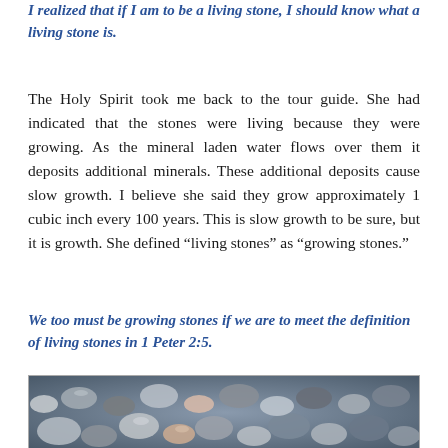I realized that if I am to be a living stone, I should know what a living stone is.
The Holy Spirit took me back to the tour guide. She had indicated that the stones were living because they were growing. As the mineral laden water flows over them it deposits additional minerals. These additional deposits cause slow growth. I believe she said they grow approximately 1 cubic inch every 100 years. This is slow growth to be sure, but it is growth. She defined “living stones” as “growing stones.”
We too must be growing stones if we are to meet the definition of living stones in 1 Peter 2:5.
[Figure (photo): A collection of smooth river pebbles and stones of various sizes, shapes, and colors including grey, brown, pink, and dark tones, photographed from above.]